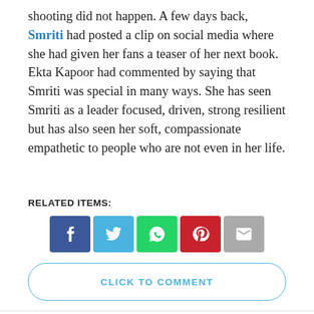shooting did not happen. A few days back, Smriti had posted a clip on social media where she had given her fans a teaser of her next book. Ekta Kapoor had commented by saying that Smriti was special in many ways. She has seen Smriti as a leader focused, driven, strong resilient but has also seen her soft, compassionate empathetic to people who are not even in her life.
RELATED ITEMS:
[Figure (infographic): Row of five social share buttons: Facebook (dark blue), Twitter (light blue), WhatsApp (green), Pinterest (red), Email (gray)]
[Figure (other): CLICK TO COMMENT button with rounded border in blue]
MOST POPULAR
FASHION
Indian Celebrity Watches [The most...